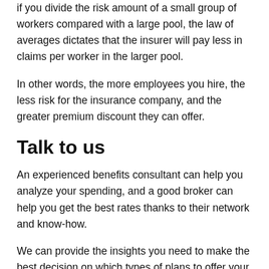if you divide the risk amount of a small group of workers compared with a large pool, the law of averages dictates that the insurer will pay less in claims per worker in the larger pool.
In other words, the more employees you hire, the less risk for the insurance company, and the greater premium discount they can offer.
Talk to us
An experienced benefits consultant can help you analyze your spending, and a good broker can help you get the best rates thanks to their network and know-how.
We can provide the insights you need to make the best decision on which types of plans to offer your workers and the best plans for your and your employees' money — and we can negotiate the best rates possible on your behalf.